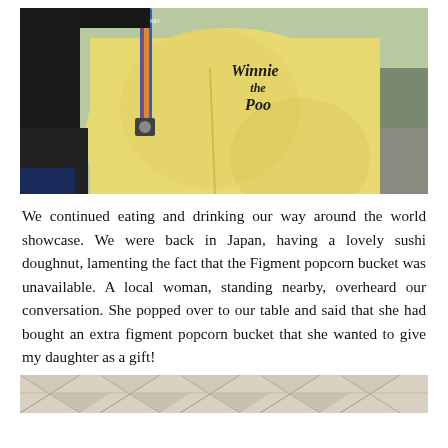[Figure (photo): A person wearing a yellow fluffy Winnie the Pooh hoodie/jacket with embroidered 'Winnie the Poo' text on the chest and a colorful lanyard. The background shows outdoor pavement.]
We continued eating and drinking our way around the world showcase. We were back in Japan, having a lovely sushi doughnut, lamenting the fact that the Figment popcorn bucket was unavailable. A local woman, standing nearby, overheard our conversation. She popped over to our table and said that she had bought an extra figment popcorn bucket that she wanted to give my daughter as a gift!
[Figure (photo): Bottom portion of a decorative geometric/faceted pattern, appears to be a popcorn bucket with triangular facets in beige/tan tones.]